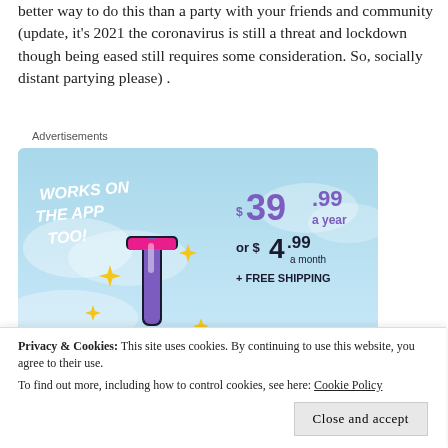better way to do this than a party with your friends and community (update, it's 2021 the coronavirus is still a threat and lockdown though being eased still requires some consideration. So, socially distant partying please) .
Advertisements
[Figure (screenshot): Tumblr advertisement: blue sky background with Tumblr 't' logo in pink/purple, sparkle stars, text reading 'WORKS ON THE APP TOO!' and pricing '$39.99 a year or $4.99 a month + FREE SHIPPING']
Privacy & Cookies: This site uses cookies. By continuing to use this website, you agree to their use.
To find out more, including how to control cookies, see here: Cookie Policy
Close and accept